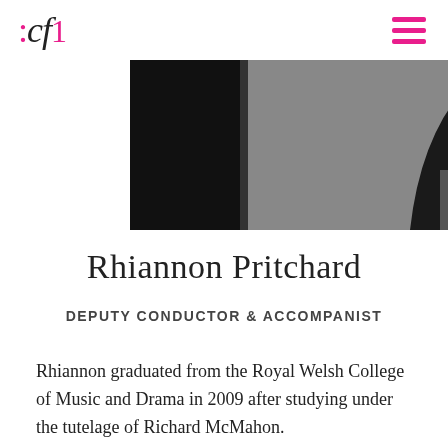:cf1
[Figure (photo): Black and white portrait photo of Rhiannon Pritchard, cropped to show upper body, with long dark hair, wearing a patterned sleeveless top, seated in front of what appears to be a piano or organ.]
Rhiannon Pritchard
DEPUTY CONDUCTOR & ACCOMPANIST
Rhiannon graduated from the Royal Welsh College of Music and Drama in 2009 after studying under the tutelage of Richard McMahon.
She has been awarded many prizes for her work as an accompanist and repetiteur including the